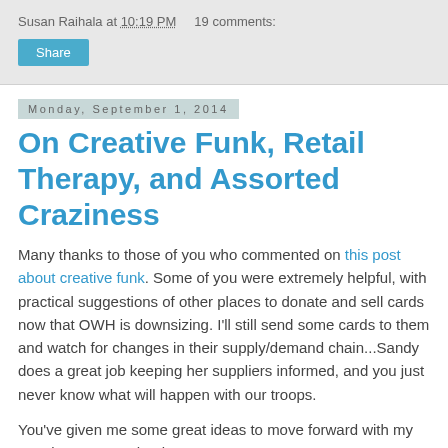Susan Raihala at 10:19 PM    19 comments:
Share
Monday, September 1, 2014
On Creative Funk, Retail Therapy, and Assorted Craziness
Many thanks to those of you who commented on this post about creative funk. Some of you were extremely helpful, with practical suggestions of other places to donate and sell cards now that OWH is downsizing. I'll still send some cards to them and watch for changes in their supply/demand chain...Sandy does a great job keeping her suppliers informed, and you just never know what will happen with our troops.
You've given me some great ideas to move forward with my creative energy. Thank you!